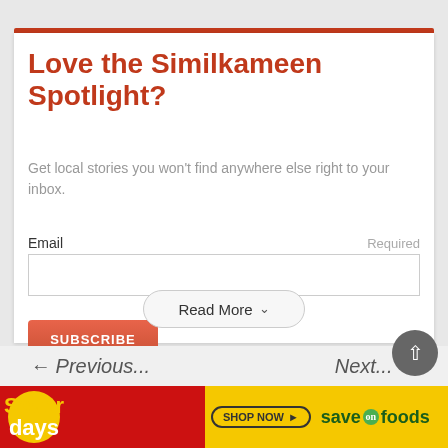Love the Similkameen Spotlight?
Get local stories you won't find anywhere else right to your inbox.
Email  Required
[Figure (other): Email input text field]
SUBSCRIBE
Read More
[Figure (other): Back to top circular button with upward arrow]
[Figure (other): Save on Foods advertisement banner - Saver Days, Shop Now, Save on Foods logo]